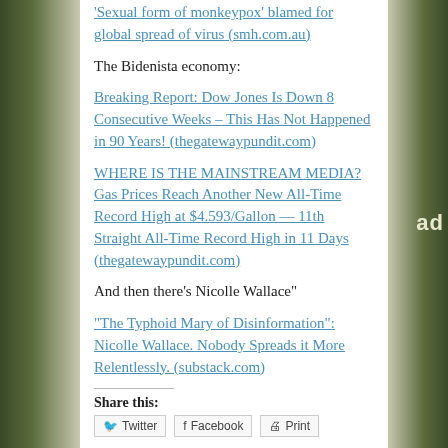'Sexual form of monkeypox' blamed for global spread of virus (smh.com.au)
The Bidenista economy:
Breaking Report: Dow Jones Is Down 8 Consecutive Weeks – This Has Not Happened in 90 Years! (thegatewaypundit.com)
WHERE IS THE MAINSTREAM MEDIA? Gas Prices Reach Another New All-Time Record High at $4.593/Gallon — 11th Straight All-Time Record High in 11 Days (thegatewaypundit.com)
And then there's Nicolle Wallace"
"The Typhoid Mary of Disinformation": Nicolle Wallace. Nobody Spreads it More Relentlessly. (substack.com)
Share this:
Twitter   Facebook   Print